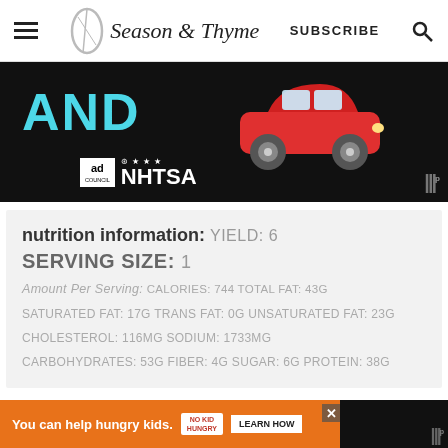Season & Thyme — SUBSCRIBE
[Figure (screenshot): NHTSA/Ad Council advertisement with red car, 'AND' text in cyan on black background]
nutrition information: YIELD: 6
SERVING SIZE: 1
Amount Per Serving: CALORIES: 744 TOTAL FAT: 43g
SATURATED FAT: 17g TRANS FAT: 0g UNSATURATED FAT: 23g
CHOLESTEROL: 116mg SODIUM: 1733mg
CARBOHYDRATES: 53g FIBER: 4g SUGAR: 6g PROTEIN: 38g
[Figure (screenshot): Orange ad banner: 'You can help hungry kids. No Kid Hungry. LEARN HOW']